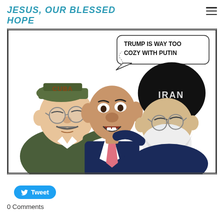JESUS, OUR BLESSED HOPE
[Figure (illustration): Political cartoon showing three caricatures: a figure wearing a green military cap labeled 'CUBA' on the left, a central figure in a suit with a pink tie with speech bubble saying 'TRUMP IS WAY TOO COZY WITH PUTIN', and a figure on the right wearing a large black hat labeled 'IRAN' with a white beard. The left and right figures have their arms around the central figure.]
Tweet
0 Comments